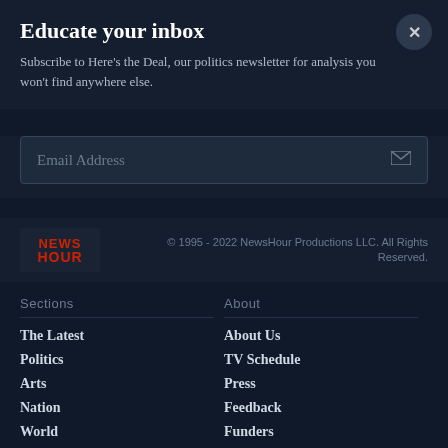Educate your inbox
Subscribe to Here's the Deal, our politics newsletter for analysis you won't find anywhere else.
[Figure (other): Email address input field with envelope icon]
[Figure (logo): PBS NewsHour logo (red text: NEWS HOUR) and copyright: © 1995 - 2022 NewsHour Productions LLC. All Rights Reserved.]
Sections
The Latest
Politics
Arts
Nation
World
Economy
Science
About
About Us
TV Schedule
Press
Feedback
Funders
Support
Subscribe